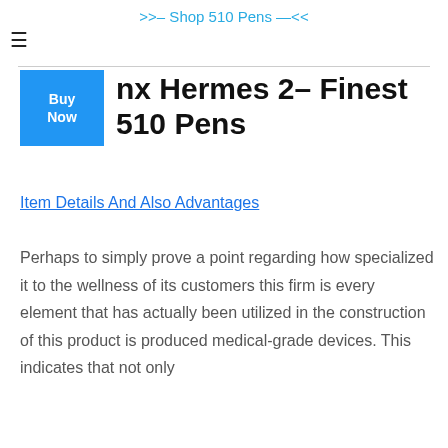>>– Shop 510 Pens —<<
nx Hermes 2– Finest 510 Pens
Item Details And Also Advantages
Perhaps to simply prove a point regarding how specialized it to the wellness of its customers this firm is every element that has actually been utilized in the construction of this product is produced medical-grade devices. This indicates that not only